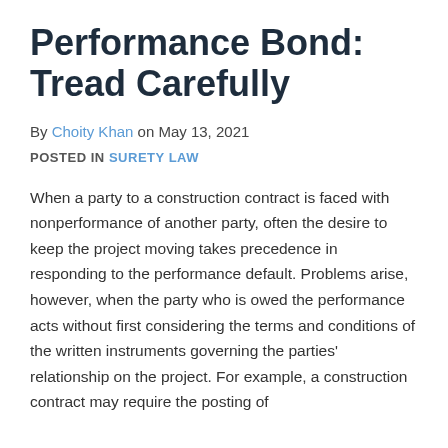Performance Bond: Tread Carefully
By Choity Khan on May 13, 2021
POSTED IN SURETY LAW
When a party to a construction contract is faced with nonperformance of another party, often the desire to keep the project moving takes precedence in responding to the performance default. Problems arise, however, when the party who is owed the performance acts without first considering the terms and conditions of the written instruments governing the parties' relationship on the project. For example, a construction contract may require the posting of